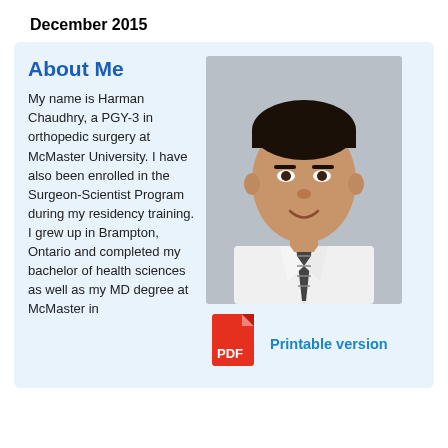December 2015
About Me
My name is Harman Chaudhry, a PGY-3 in orthopedic surgery at McMaster University. I have also been enrolled in the Surgeon-Scientist Program during my residency training. I grew up in Brampton, Ontario and completed my bachelor of health sciences as well as my MD degree at McMaster in
[Figure (photo): Professional headshot of Harman Chaudhry, a young man in a white dress shirt and striped tie, on a grey background.]
Printable version